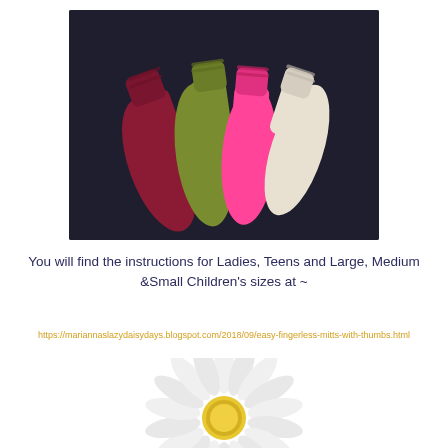[Figure (photo): Four fingerless knitted mitts/gloves in dark red, olive green, bright pink, and cream/white colors fanned out on a dark background.]
You will find the instructions for Ladies, Teens and Large, Medium &Small Children's sizes at ~
https://mariannaslazydaisydays.blogspot.com/2018/09/easy-fingerless-mitts-with-thumbs.html
[Figure (photo): A white daisy flower with yellow center, partially cropped at the bottom of the page.]